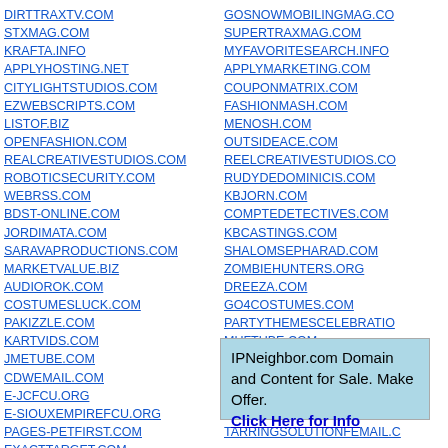DIRTTRAXTV.COM
STXMAG.COM
KRAFTA.INFO
APPLYHOSTING.NET
CITYLIGHTSTUDIOS.COM
EZWEBSCRIPTS.COM
LISTOF.BIZ
OPENFASHION.COM
REALCREATIVESTUDIOS.COM
ROBOTICSECURITY.COM
WEBRSS.COM
BDST-ONLINE.COM
JORDIMATA.COM
SARAVAPRODUCTIONS.COM
MARKETVALUE.BIZ
AUDIOROK.COM
COSTUMESLUCK.COM
PAKIZZLE.COM
KARTVIDS.COM
JMETUBE.COM
CDWEMAIL.COM
E-JCFCU.ORG
E-SIOUXEMPIREFCU.ORG
PAGES-PETFIRST.COM
EXACTTARGET.COM
HUBEXCHANGEWEEK.COM
CAPITALONE360EMAIL.COM
DOUBLEDFOODS.COM
GOSNOWMOBILINGMAG.CO
SUPERTRAXMAG.COM
MYFAVORITESEARCH.INFO
APPLYMARKETING.COM
COUPONMATRIX.COM
FASHIONMASH.COM
MENOSH.COM
OUTSIDEACE.COM
REELCREATIVESTUDIOS.CO
RUDYDEDOMINICIS.COM
KBJORN.COM
COMPTEDETECTIVES.COM
KBCASTINGS.COM
SHALOMSEPHARAD.COM
ZOMBIEHUNTERS.ORG
DREEZA.COM
GO4COSTUMES.COM
PARTYTHEMESCELEBRATIO
MUFTUBE.COM
LITTLEFRIEND.COM
MERITAGEMAILBOX.COM
E-PENFED.ORG
E-STCLOUDFCU.ORG
TARRINGSOLUTIONFEMAIL.CO
IPNeighbor.com Domain and Content for Sale. Make Offer. Click Here for Info